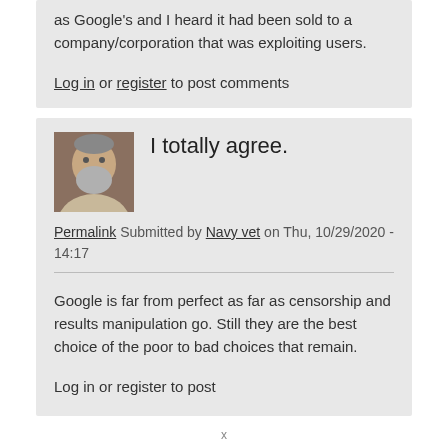as Google's and I heard it had been sold to a company/corporation that was exploiting users.
Log in or register to post comments
I totally agree.
Permalink Submitted by Navy vet on Thu, 10/29/2020 - 14:17
Google is far from perfect as far as censorship and results manipulation go. Still they are the best choice of the poor to bad choices that remain.
Log in or register to post